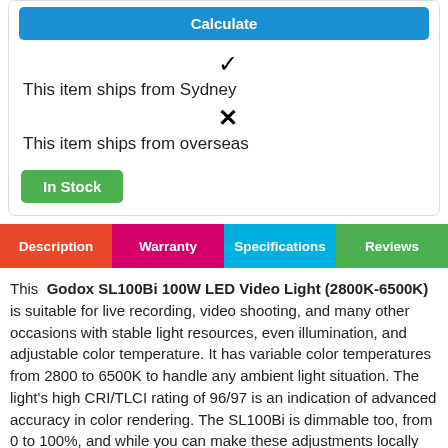Calculate
✔ This item ships from Sydney
✗ This item ships from overseas
In Stock
Description
Warranty
Specifications
Reviews
This Godox SL100Bi 100W LED Video Light (2800K-6500K) is suitable for live recording, video shooting, and many other occasions with stable light resources, even illumination, and adjustable color temperature. It has variable color temperatures from 2800 to 6500K to handle any ambient light situation. The light's high CRI/TLCI rating of 96/97 is an indication of advanced accuracy in color rendering. The SL100Bi is dimmable too, from 0 to 100%, and while you can make these adjustments locally on the fixture you can take